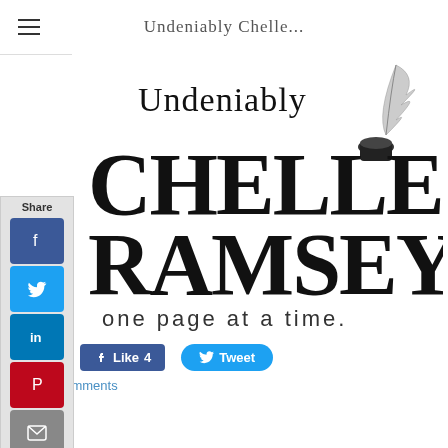Undeniably Chelle...
[Figure (logo): Undeniably Chelle Ramsey - one page at a time. Brand logo with decorative script and serif typography, with a quill and inkwell illustration.]
Share
Like 4
Tweet
0 Comments